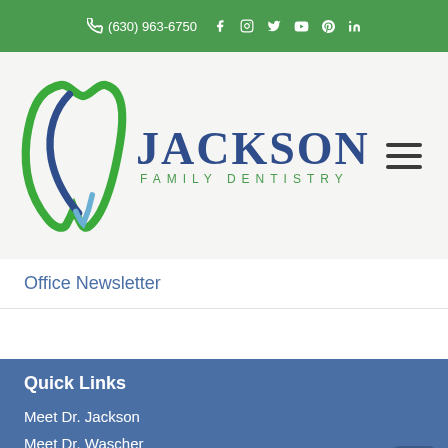(630) 963-6750
[Figure (logo): Jackson Family Dentistry logo with green and blue tooth icon and text]
Office Newsletter
Quick Links
Meet Dr. Jackson
Meet Dr. Wascher
Office Tour